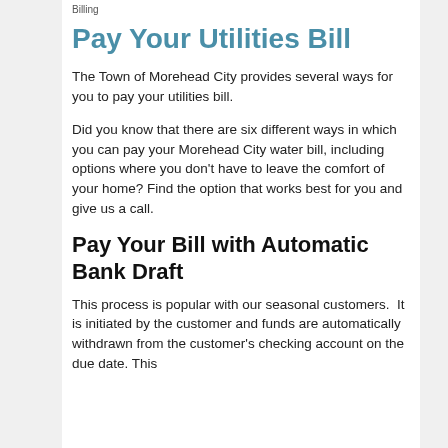Billing
Pay Your Utilities Bill
The Town of Morehead City provides several ways for you to pay your utilities bill.
Did you know that there are six different ways in which you can pay your Morehead City water bill, including options where you don't have to leave the comfort of your home? Find the option that works best for you and give us a call.
Pay Your Bill with Automatic Bank Draft
This process is popular with our seasonal customers.  It is initiated by the customer and funds are automatically withdrawn from the customer's checking account on the due date. This